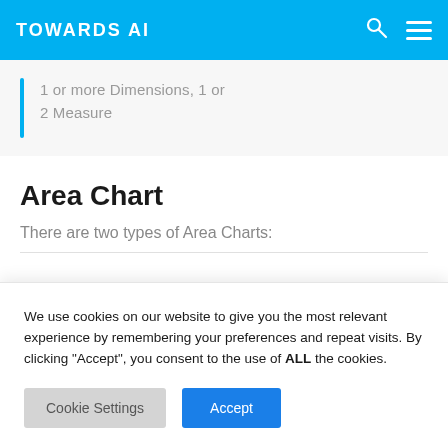TOWARDS AI
1 or more Dimensions, 1 or 2 Measure
Area Chart
There are two types of Area Charts:
We use cookies on our website to give you the most relevant experience by remembering your preferences and repeat visits. By clicking “Accept”, you consent to the use of ALL the cookies.